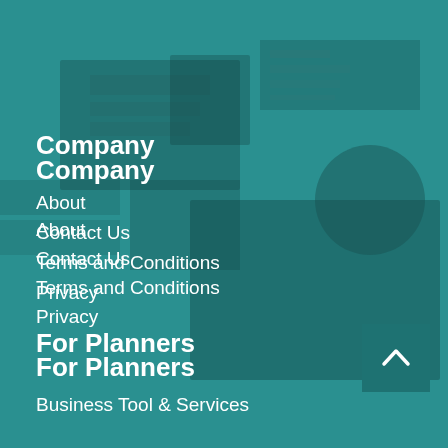Company
About
Contact Us
Terms and Conditions
Privacy
For Planners
Business Tool & Services
Personnel Benefits
E-Mail Communications
i-Meet.com LinkedIn Group
Stories & Blogs